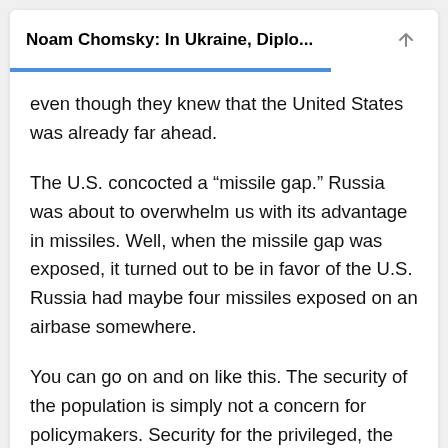Noam Chomsky: In Ukraine, Diplo...
even though they knew that the United States was already far ahead.
The U.S. concocted a “missile gap.” Russia was about to overwhelm us with its advantage in missiles. Well, when the missile gap was exposed, it turned out to be in favor of the U.S. Russia had maybe four missiles exposed on an airbase somewhere.
You can go on and on like this. The security of the population is simply not a concern for policymakers. Security for the privileged, the rich, the corporate sector, arms manufacturers, yes.